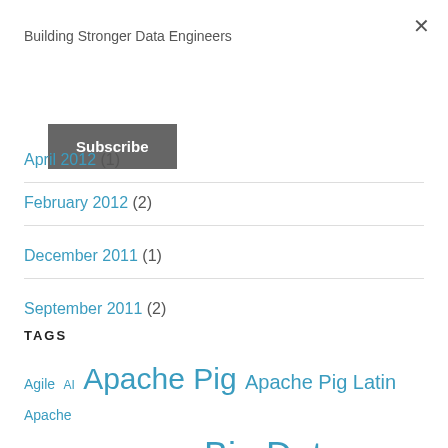Building Stronger Data Engineers
Subscribe
April 2012 (1)
February 2012 (2)
December 2011 (1)
September 2011 (2)
TAGS
Agile AI Apache Pig Apache Pig Latin Apache Pig Tutorial ASP.NET AWS Big Data Big Data